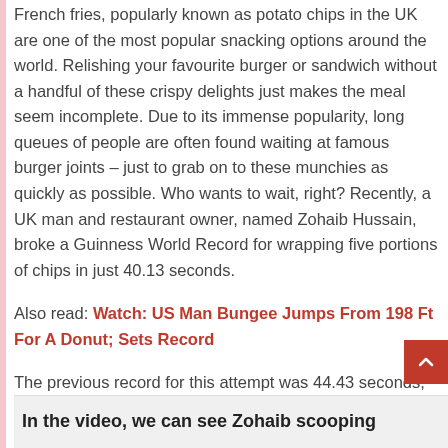French fries, popularly known as potato chips in the UK are one of the most popular snacking options around the world. Relishing your favourite burger or sandwich without a handful of these crispy delights just makes the meal seem incomplete. Due to its immense popularity, long queues of people are often found waiting at famous burger joints – just to grab on to these munchies as quickly as possible. Who wants to wait, right? Recently, a UK man and restaurant owner, named Zohaib Hussain, broke a Guinness World Record for wrapping five portions of chips in just 40.13 seconds.
Also read: Watch: US Man Bungee Jumps From 198 Ft For A Donut; Sets Record
The previous record for this attempt was 44.43 seconds, set by Stephanie Celik in 2018. Zohaib completed the task in 40.13 seconds. The Guinness World Record has shared a video of his attempt on Instagram. "Fastest time to wrap five portions of chips- 40.13 secs by Zohaib Hussain," the caption read. Take a look:
In the video, we can see Zohaib scooping